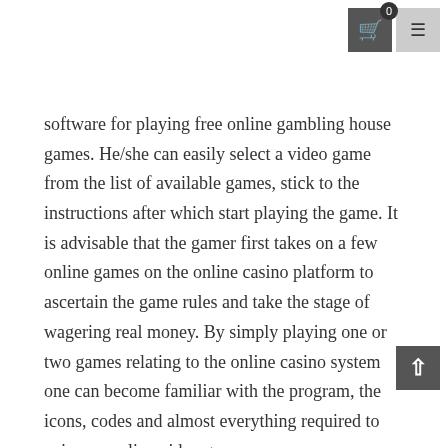0 [cart icon] [menu icon]
software for playing free online gambling house games. He/she can easily select a video game from the list of available games, stick to the instructions after which start playing the game. It is advisable that the gamer first takes on a few online games on the online casino platform to ascertain the game rules and take the stage of wagering real money. By simply playing one or two games relating to the online casino system one can become familiar with the program, the icons, codes and almost everything required to enjoy an online video game.
Black jack: Blackjack is another exciting online casino games. One can gain or generate losses depending upon the strategy utilized in playing the sport. It is advisable to be very well acquainted with the principle game guidelines just before playing a game. It is one of the popular game titles and can be played alone or as portion